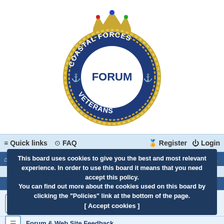[Figure (logo): Coastal Forces Veterans Forum circular badge/logo with crown on top, navy blue background with gold rope border, text reading 'COASTAL FORCES VETERANS' around the ring, white inner circle with 'FORUM' in navy text, anchor emblems on sides]
≡ Quick links  ? FAQ     Register  Login
Home  Board index
It is currently Tue ... 3, 2022 9:39 am
SITE ADMINISTRATION
This board uses cookies to give you the best and most relevant experience. In order to use this board it means that you need accept this policy.
You can find out more about the cookies used on this board by clicking the "Policies" link at the bottom of the page.
[ Accept cookies ]
Forum Announcements
Forum announcements or notices